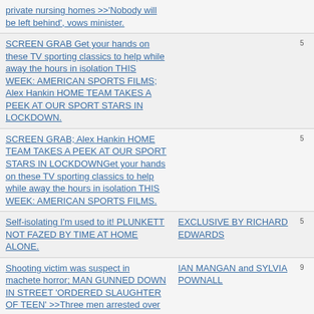private nursing homes >>'Nobody will be left behind', vows minister.
SCREEN GRAB Get your hands on these TV sporting classics to help while away the hours in isolation THIS WEEK: AMERICAN SPORTS FILMS; Alex Hankin HOME TEAM TAKES A PEEK AT OUR SPORT STARS IN LOCKDOWN.
SCREEN GRAB; Alex Hankin HOME TEAM TAKES A PEEK AT OUR SPORT STARS IN LOCKDOWNGet your hands on these TV sporting classics to help while away the hours in isolation THIS WEEK: AMERICAN SPORTS FILMS.
Self-isolating I'm used to it! PLUNKETT NOT FAZED BY TIME AT HOME ALONE.
EXCLUSIVE BY RICHARD EDWARDS
Shooting victim was suspect in machete horror; MAN GUNNED DOWN IN STREET 'ORDERED SLAUGHTER OF TEEN' >>Three men arrested over
IAN MANGAN and SYLVIA POWNALL